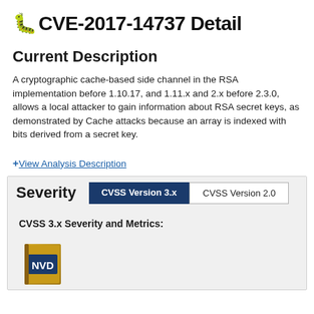CVE-2017-14737 Detail
Current Description
A cryptographic cache-based side channel in the RSA implementation before 1.10.17, and 1.11.x and 2.x before 2.3.0, allows a local attacker to gain information about RSA secret keys, as demonstrated by Cache attacks because an array is indexed with bits derived from a secret key.
+ View Analysis Description
Severity   CVSS Version 3.x   CVSS Version 2.0
CVSS 3.x Severity and Metrics: